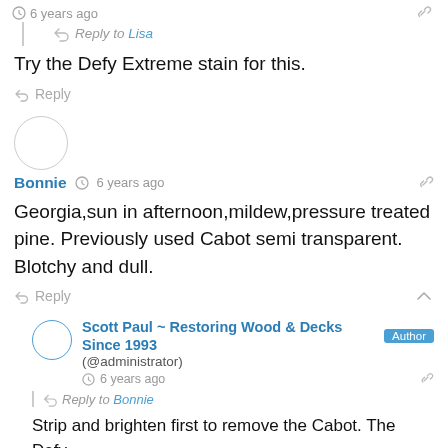6 years ago
Reply to Lisa
Try the Defy Extreme stain for this.
Reply
Bonnie  6 years ago
Georgia,sun in afternoon,mildew,pressure treated pine. Previously used Cabot semi transparent. Blotchy and dull.
Reply
Scott Paul ~ Restoring Wood & Decks Since 1993 (@administrator)  6 years ago
Reply to Bonnie
Strip and brighten first to remove the Cabot. The Defy